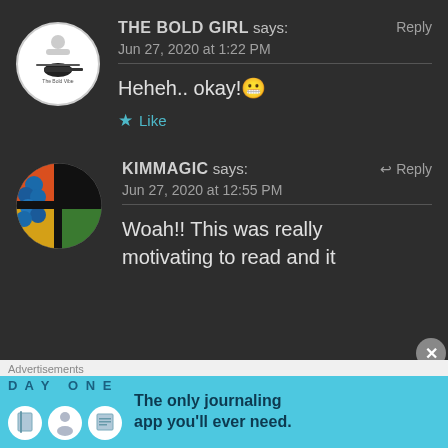[Figure (illustration): Avatar for The Bold Girl: white circle with helicopter logo and text 'The Bold Vibe']
THE BOLD GIRL says: Reply
Jun 27, 2020 at 1:22 PM
Heheh.. okay! 😬
★ Like
[Figure (photo): Avatar for Kimmagic: colorful circular image with blue flowers and orange/green/yellow blocks on black background]
KIMMAGIC says:  ↩ Reply
Jun 27, 2020 at 12:55 PM
Woah!! This was really motivating to read and it
Advertisements
[Figure (screenshot): Day One journaling app advertisement with cyan background, app icons, and text: DAY ONE - The only journaling app you'll ever need.]